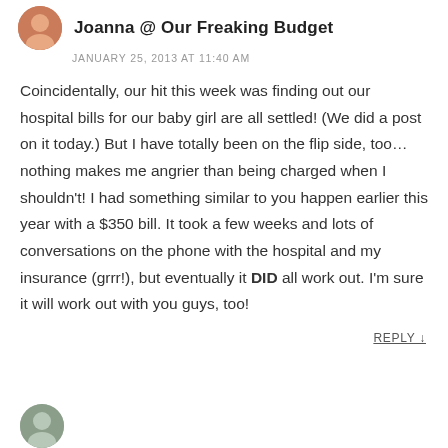Joanna @ Our Freaking Budget
JANUARY 25, 2013 AT 11:40 AM
Coincidentally, our hit this week was finding out our hospital bills for our baby girl are all settled! (We did a post on it today.) But I have totally been on the flip side, too… nothing makes me angrier than being charged when I shouldn't! I had something similar to you happen earlier this year with a $350 bill. It took a few weeks and lots of conversations on the phone with the hospital and my insurance (grrr!), but eventually it DID all work out. I'm sure it will work out with you guys, too!
REPLY ↓